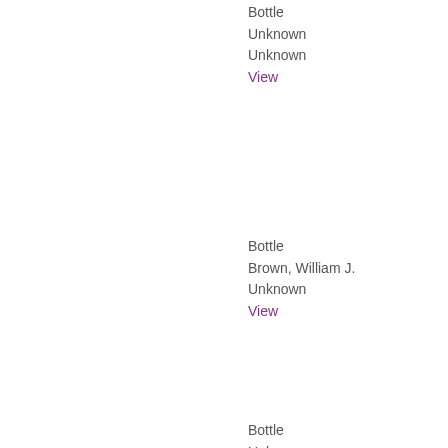Bottle
Unknown
Unknown
View
Bottle
Brown, William J.
Unknown
View
Bottle
Unknown
Unknown